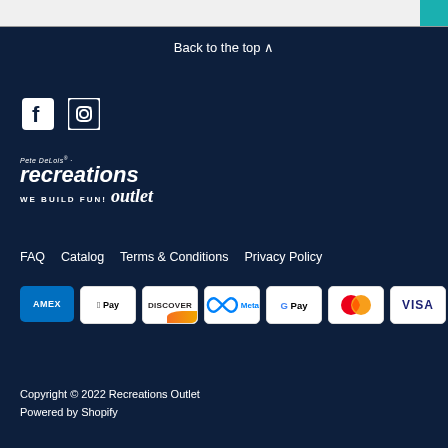Back to the top ^
[Figure (logo): Social media icons: Facebook and Instagram]
[Figure (logo): Pete DeLois Recreations Outlet - WE BUILD FUN! Outlet logo]
FAQ   Catalog   Terms & Conditions   Privacy Policy
[Figure (logo): Payment method icons: American Express, Apple Pay, Discover, Meta, Google Pay, Mastercard, Visa]
Copyright © 2022 Recreations Outlet
Powered by Shopify